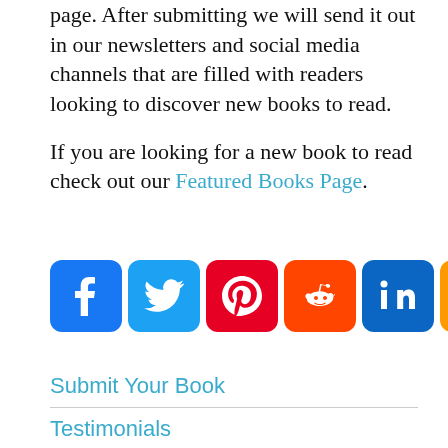page. After submitting we will send it out in our newsletters and social media channels that are filled with readers looking to discover new books to read.

If you are looking for a new book to read check out our Featured Books Page.
[Figure (infographic): Row of 10 social media sharing icons: Facebook (blue), Twitter (light blue), Pinterest (red), Reddit (orange-red), LinkedIn (blue), Amazon (orange), Messenger (blue), Tumblr (dark gray), Buffer (black), Share/more (blue)]
Submit Your Book
Testimonials